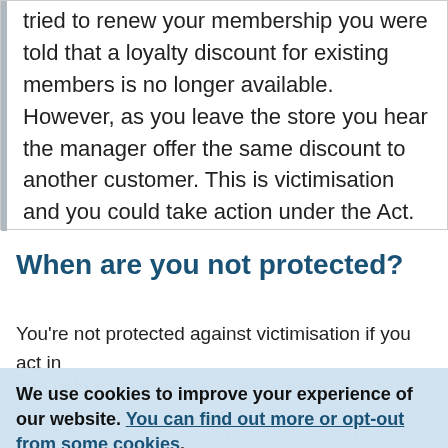tried to renew your membership you were told that a loyalty discount for existing members is no longer available. However, as you leave the store you hear the manager offer the same discount to another customer. This is victimisation and you could take action under the Act.
When are you not protected?
You're not protected against victimisation if you act in bad faith by making false accusations or if you give information which you did not believe to be true. You're still protected if you give information which you believe to be true even if it later proves to be wrong, even if your proceedings are unsuccessful.
We use cookies to improve your experience of our website. You can find out more or opt-out from some cookies.